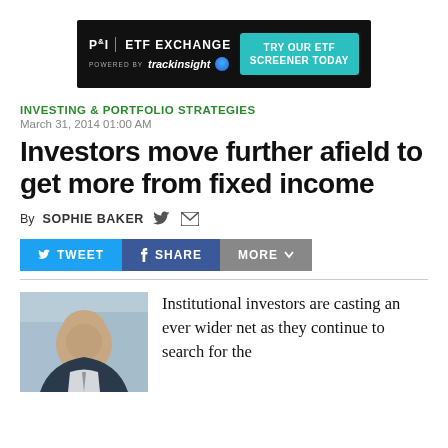[Figure (other): Advertisement banner for P&I ETF Exchange powered by trackinsight, with a 'TRY OUR ETF SCREENER TODAY' call to action button on dark background]
INVESTING & PORTFOLIO STRATEGIES
March 31, 2014 01:00 AM
Investors move further afield to get more from fixed income
By SOPHIE BAKER
[Figure (other): Social sharing buttons: TWEET (blue), SHARE (dark blue/Facebook), MORE (gray with dropdown arrow)]
[Figure (photo): Photo of a man, partially visible, bald head, appears to be an investment professional]
Institutional investors are casting an ever wider net as they continue to search for the